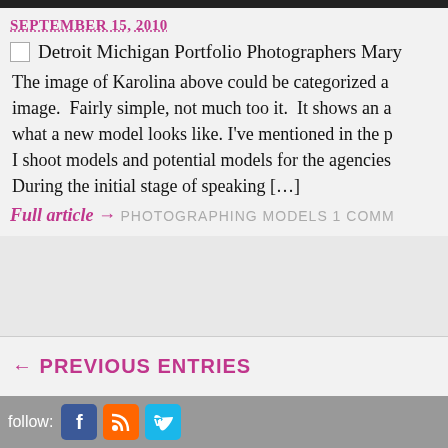SEPTEMBER 15, 2010
Detroit Michigan Portfolio Photographers Mary
The image of Karolina above could be categorized a image.  Fairly simple, not much too it.  It shows an a what a new model looks like. I've mentioned in the p I shoot models and potential models for the agencies During the initial stage of speaking […]
Full article → PHOTOGRAPHING MODELS 1 COMM
← PREVIOUS ENTRIES
follow: